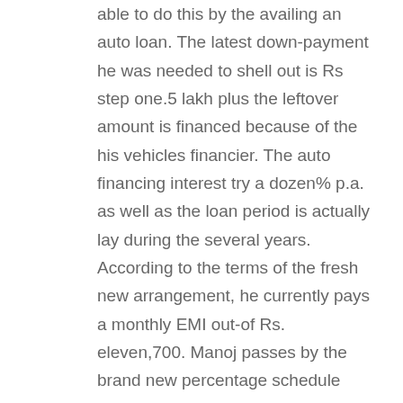able to do this by the availing an auto loan. The latest down-payment he was needed to shell out is Rs step one.5 lakh plus the leftover amount is financed because of the his vehicles financier. The auto financing interest try a dozen% p.a. as well as the loan period is actually lay during the several years. According to the terms of the fresh new arrangement, he currently pays a monthly EMI out-of Rs. eleven,700. Manoj passes by the brand new percentage schedule while the put down of the financial. But, how come the guy ensure the new numbers payable according to the agenda? Could there be in whatever way he is able to treat or help the EMI considering his finances?
Figuring EMIs might be perplexing and tiresome